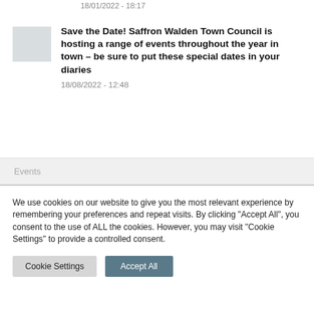18/01/2022 - 18:17
[Figure (photo): Small thumbnail image, light grey/blue tones, appears to be an outdoor or sky photo]
Save the Date! Saffron Walden Town Council is hosting a range of events throughout the year in town – be sure to put these special dates in your diaries
18/08/2022 - 12:48
Events
We use cookies on our website to give you the most relevant experience by remembering your preferences and repeat visits. By clicking "Accept All", you consent to the use of ALL the cookies. However, you may visit "Cookie Settings" to provide a controlled consent.
Cookie Settings
Accept All